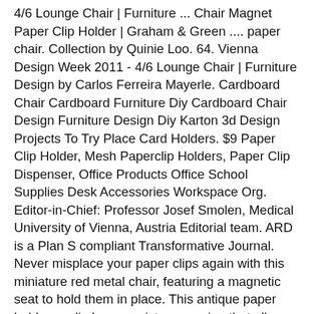4/6 Lounge Chair | Furniture ... Chair Magnet Paper Clip Holder | Graham & Green .... paper chair. Collection by Quinie Loo. 64. Vienna Design Week 2011 - 4/6 Lounge Chair | Furniture Design by Carlos Ferreira Mayerle. Cardboard Chair Cardboard Furniture Diy Cardboard Chair Design Furniture Design Diy Karton 3d Design Projects To Try Place Card Holders. $9 Paper Clip Holder, Mesh Paperclip Holders, Paper Clip Dispenser, Office Products Office School Supplies Desk Accessories Workspace Org. Editor-in-Chief: Professor Josef Smolen, Medical University of Vienna, Austria Editorial team. ARD is a Plan S compliant Transformative Journal. Never misplace your paper clips again with this miniature red metal chair, featuring a magnetic seat to hold them in place. This antique paper holder or clip has a resistance spring that allows it to hold papers very tight. The entire piece is made of cast iron and the front is in the shape of the Shriners logo showing the mask of king Tutankhamen with two horns under it with a star between the horns having a crescent above it.